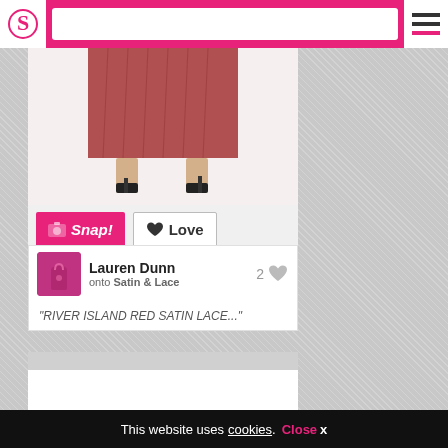S [logo] [search bar] [menu]
[Figure (photo): Fashion photo showing lower body of woman wearing red/burgundy pleated midi skirt with black ankle-strap heeled sandals on white background]
[Figure (other): Snap! and Love buttons for social sharing]
Lauren Dunn onto Satin & Lace 2 [heart]
"RIVER ISLAND RED SATIN LACE..."
[Figure (photo): Fashion photo showing person wearing light blue/white shirt with brown/tan leather wrap skirt]
This website uses cookies. Close x